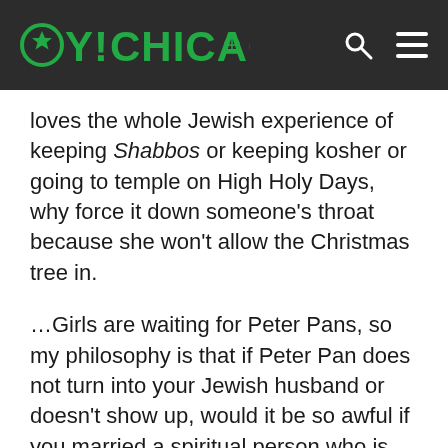OY!CHICAGO
loves the whole Jewish experience of keeping Shabbos or keeping kosher or going to temple on High Holy Days, why force it down someone’s throat because she won’t allow the Christmas tree in.
...Girls are waiting for Peter Pans, so my philosophy is that if Peter Pan does not turn into your Jewish husband or doesn’t show up, would it be so awful if you married a spiritual person who is not Jewish?
Can you give us some dos and don’ts for the first date?
Have a two-drink maximum no matter what you’re drinking and don’t mix alcohol. Show up on time. Be